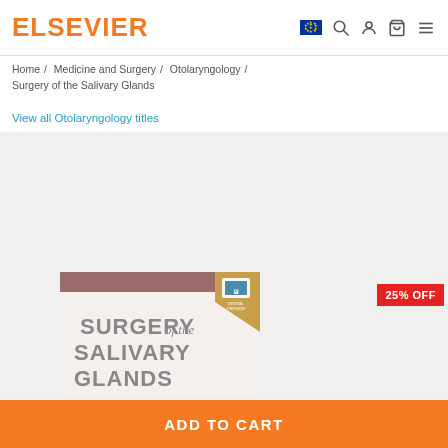ELSEVIER
Home / Medicine and Surgery / Otolaryngology / Surgery of the Salivary Glands
View all Otolaryngology titles
[Figure (photo): Book cover of 'Surgery of the Salivary Glands' by Robert L. Witt, published by Elsevier. Cover shows surgical images with teal, brown, and orange color scheme. A 25% OFF badge is shown in red.]
ADD TO CART